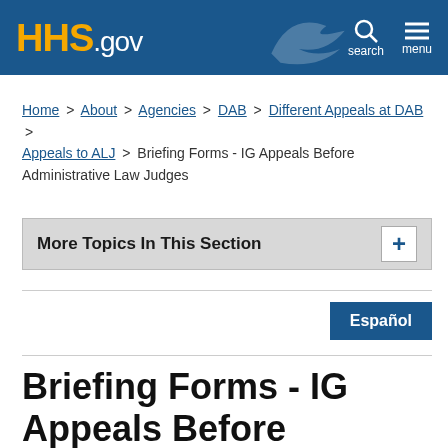HHS.gov — search menu
Home > About > Agencies > DAB > Different Appeals at DAB > Appeals to ALJ > Briefing Forms - IG Appeals Before Administrative Law Judges
More Topics In This Section
Español
Briefing Forms - IG Appeals Before Administrative Law Judges